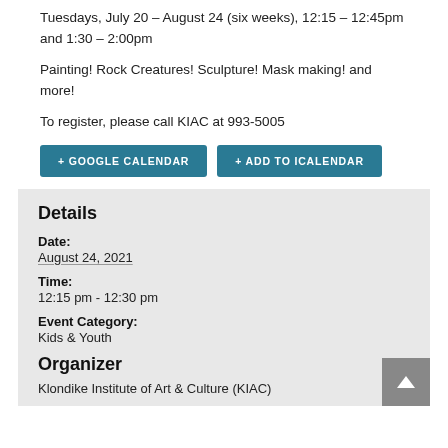Tuesdays, July 20 – August 24 (six weeks), 12:15 – 12:45pm and 1:30 – 2:00pm
Painting! Rock Creatures! Sculpture! Mask making! and more!
To register, please call KIAC at 993-5005
+ GOOGLE CALENDAR
+ ADD TO ICALENDAR
Details
Date:
August 24, 2021
Time:
12:15 pm - 12:30 pm
Event Category:
Kids & Youth
Organizer
Klondike Institute of Art & Culture (KIAC)